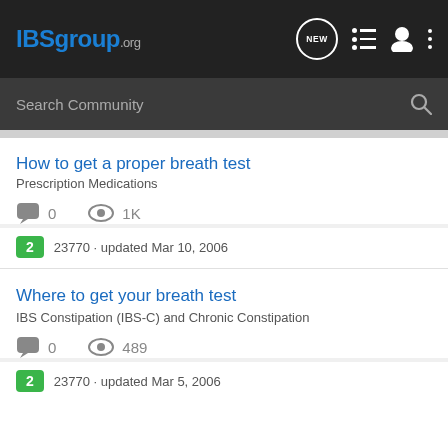IBSgroup.org
Search Community
How to get a proper breath test
Prescription Medications
0  1K
2  23770 · updated Mar 10, 2006
Where to get your breath test
IBS Constipation (IBS-C) and Chronic Constipation
0  489
2  23770 · updated Mar 5, 2006